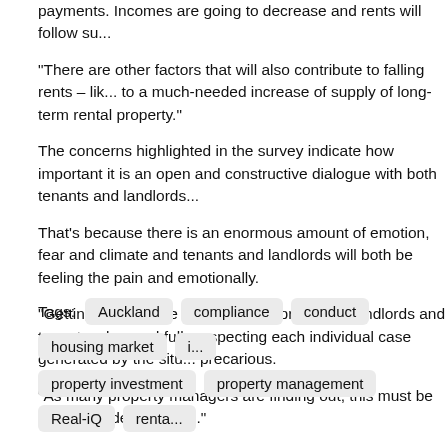payments. Incomes are going to decrease and rents will follow su...
“There are other factors that will also contribute to falling rents – lik... to a much-needed increase of supply of long-term rental property.”
The concerns highlighted in the survey indicate how important it is an open and constructive dialogue with both tenants and landlords...
That’s because there is an enormous amount of emotion, fear and climate and tenants and landlords will both be feeling the pain and emotionally.
“Getting the balance right between protecting landlords and tenants... law and fully respecting each individual case generated by the situ... precarious.
“As many property managers are finding out, this must be done on... delicately so.”
Tags: Auckland  compliance  conduct  housing market  i...  property investment  property management  Real-iQ  renta...